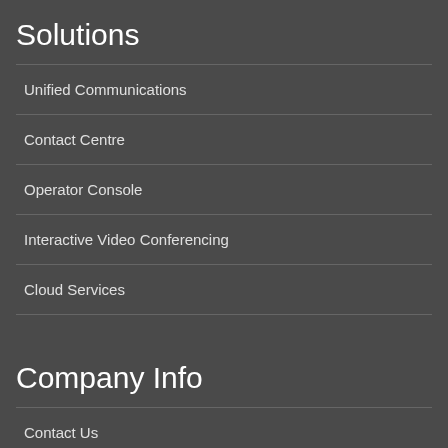Solutions
Unified Communications
Contact Centre
Operator Console
Interactive Video Conferencing
Cloud Services
Company Info
Contact Us
Support
Reseller Portal